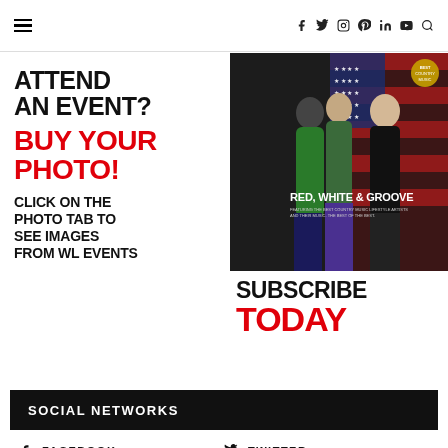≡  f  Twitter  Instagram  Pinterest  in  Vimeo  Search
ATTEND AN EVENT? BUY YOUR PHOTO! CLICK ON THE PHOTO TAB TO SEE IMAGES FROM WL EVENTS
[Figure (photo): Magazine cover: Red, White & Groove — three people standing in front of American flag]
SUBSCRIBE TODAY
SOCIAL NETWORKS
f  FACEBOOK
Twitter  TWITTER
Instagram  INSTAGRAM
Pinterest  PINTEREST